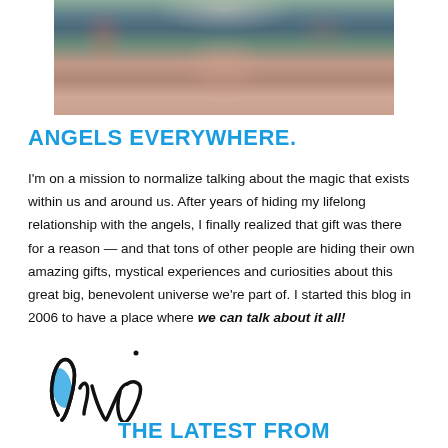[Figure (photo): Cropped photo of a person from the shoulders/neck up, wearing a floral patterned top in dark blue/green with pink flowers, partially visible at top of page]
ANGELS EVERYWHERE.
I'm on a mission to normalize talking about the magic that exists within us and around us. After years of hiding my lifelong relationship with the angels, I finally realized that gift was there for a reason — and that tons of other people are hiding their own amazing gifts, mystical experiences and curiosities about this great big, benevolent universe we're part of. I started this blog in 2006 to have a place where we can talk about it all!
[Figure (illustration): Handwritten cursive signature reading 'liv' in black ink with blue ink fill on the 'l' character]
THE LATEST FROM